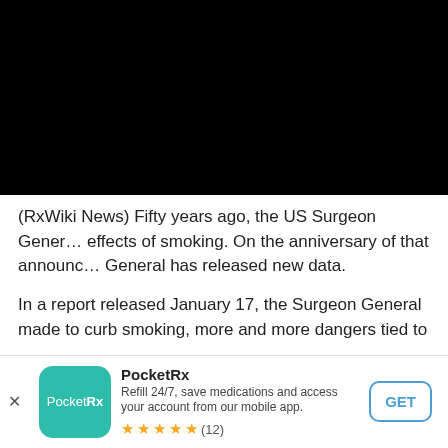[Figure (photo): Black image/video placeholder at top of page]
(RxWiki News) Fifty years ago, the US Surgeon General announced the effects of smoking. On the anniversary of that announcement, the Surgeon General has released new data.
In a report released January 17, the Surgeon General made to curb smoking, more and more dangers tied to
PocketRx
Refill 24/7, save medications and access your account from our mobile app.
★★★★★ (12)